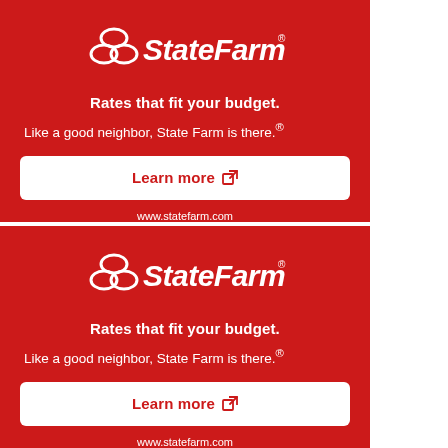[Figure (logo): State Farm logo — three interlocking ovals above 'State Farm' wordmark in white italic bold text with registered trademark symbol, on red background (top ad)]
Rates that fit your budget.
Like a good neighbor, State Farm is there.®
Learn more ⧉
www.statefarm.com
[Figure (logo): State Farm logo — three interlocking ovals above 'State Farm' wordmark in white italic bold text with registered trademark symbol, on red background (bottom ad)]
Rates that fit your budget.
Like a good neighbor, State Farm is there.®
Learn more ⧉
www.statefarm.com